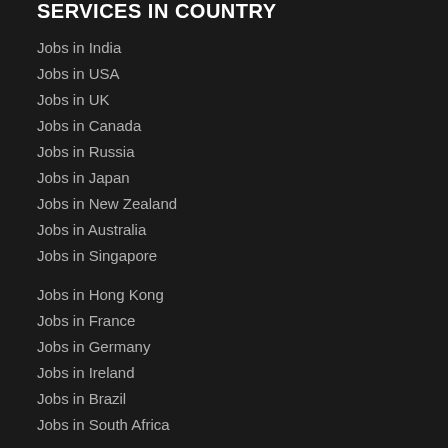SERVICES IN COUNTRY
Jobs in India
Jobs in USA
Jobs in UK
Jobs in Canada
Jobs in Russia
Jobs in Japan
Jobs in New Zealand
Jobs in Australia
Jobs in Singapore
Jobs in Hong Kong
Jobs in France
Jobs in Germany
Jobs in Ireland
Jobs in Brazil
Jobs in South Africa